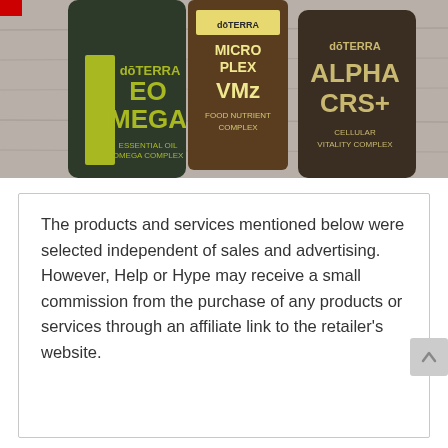[Figure (photo): Three doTERRA supplement bottles on a wooden surface: dōTERRA EO Mega (Essential Oil Omega Complex), dōTERRA Microplex VMz (Food Nutrient Complex), and dōTERRA Alpha CRS+ (Cellular Vitality Complex). All dark amber/green bottles with yellow-green and white label text.]
The products and services mentioned below were selected independent of sales and advertising. However, Help or Hype may receive a small commission from the purchase of any products or services through an affiliate link to the retailer's website.